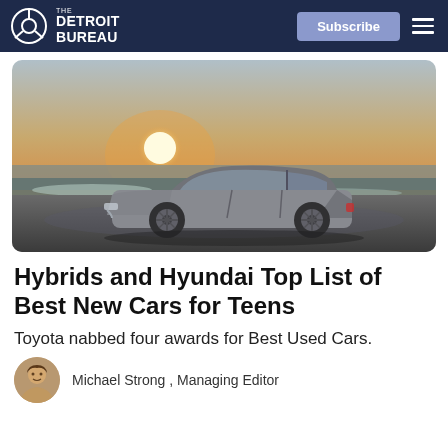THE DETROIT BUREAU — Subscribe
[Figure (photo): A silver Hyundai sedan driving on a wet road near a beach at sunset, ocean waves in the background, golden sun low on the horizon.]
Hybrids and Hyundai Top List of Best New Cars for Teens
Toyota nabbed four awards for Best Used Cars.
Michael Strong , Managing Editor